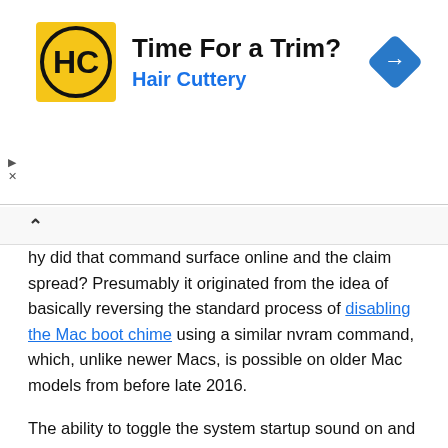[Figure (other): Hair Cuttery advertisement banner with logo (HC in circle on yellow background), text 'Time For a Trim?' and 'Hair Cuttery', and a blue navigation diamond icon on the right.]
hy did that command surface online and the claim spread? Presumably it originated from the idea of basically reversing the standard process of disabling the Mac boot chime using a similar nvram command, which, unlike newer Macs, is possible on older Mac models from before late 2016.
The ability to toggle the system startup sound on and off is not new, in fact you've been able to use the nvram command to disable the boot chime on Macs for years, and you can also temporarily mute the boot sound with a keypress, it's just the late-2016 onward Mac hardware that has opted to disable the boot sound effect chime.